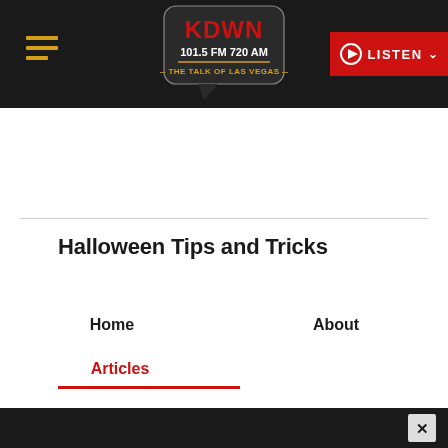KDWN 101.5 FM 720 AM — THE TALK OF LAS VEGAS | LISTEN
Halloween Tips and Tricks
Home
About
Articles